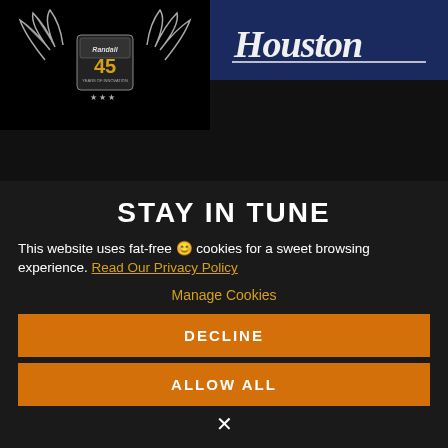[Figure (logo): Randall 45 Years of Innovation logo — silver winged crest on black background]
[Figure (logo): Houston Astros-style script logo in white on dark navy background]
STAY IN TUNE
This website uses fat-free 😊 cookies for a sweet browsing experience. Read Our Privacy Policy
Manage Cookies
DECLINE
ALLOW ALL
×